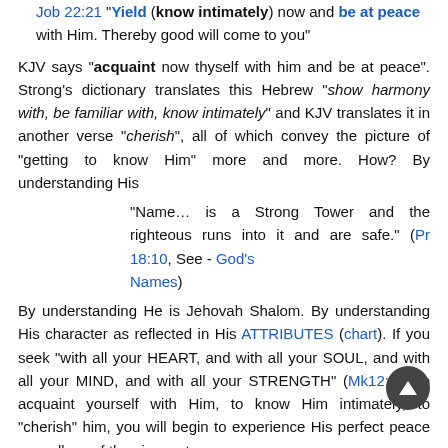Job 22:21 "Yield ('know intimately') now and be at peace with Him. Thereby good will come to you"
KJV says "acquaint now thyself with him and be at peace". Strong's dictionary translates this Hebrew "show harmony with, be familiar with, know intimately" and KJV translates it in another verse "cherish", all of which convey the picture of "getting to know Him" more and more. How? By understanding His
"Name… is a Strong Tower and the righteous runs into it and are safe." (Pr 18:10, See - God's Names)
By understanding He is Jehovah Shalom. By understanding His character as reflected in His ATTRIBUTES (chart). If you seek "with all your HEART, and with all your SOUL, and with all your MIND, and with all your STRENGTH" (Mk12:30) to acquaint yourself with Him, to know Him intimately, to "cherish" him, you will begin to experience His perfect peace regardless of the circumstances.